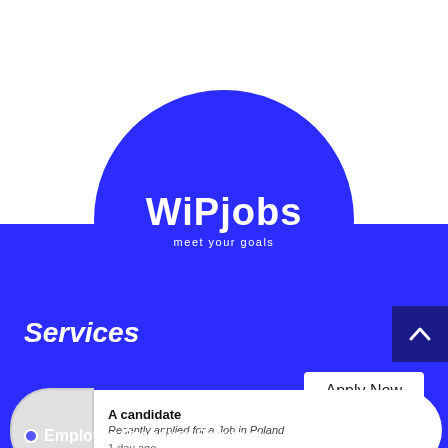[Figure (logo): WiPjobs logo — white text on blue circle. Large text 'WiPjobs' with tagline 'meet your goals' below.]
Services
Apply Now
A candidate
Recently applied for a Job in Poland
1 day ago
Employer Branding Services